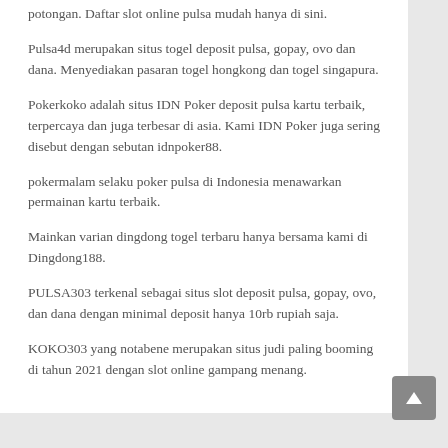potongan. Daftar slot online pulsa mudah hanya di sini.
Pulsa4d merupakan situs togel deposit pulsa, gopay, ovo dan dana. Menyediakan pasaran togel hongkong dan togel singapura.
Pokerkoko adalah situs IDN Poker deposit pulsa kartu terbaik, terpercaya dan juga terbesar di asia. Kami IDN Poker juga sering disebut dengan sebutan idnpoker88.
pokermalam selaku poker pulsa di Indonesia menawarkan permainan kartu terbaik.
Mainkan varian dingdong togel terbaru hanya bersama kami di Dingdong188.
PULSA303 terkenal sebagai situs slot deposit pulsa, gopay, ovo, dan dana dengan minimal deposit hanya 10rb rupiah saja.
KOKO303 yang notabene merupakan situs judi paling booming di tahun 2021 dengan slot online gampang menang.